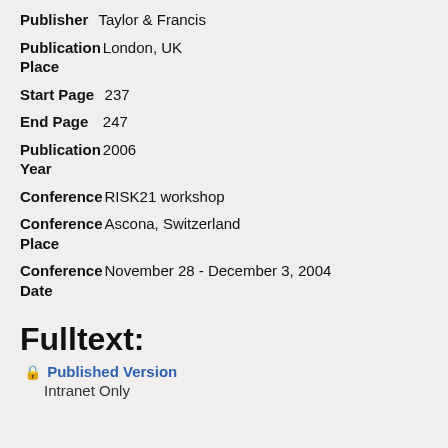Publisher: Taylor & Francis
Publication Place: London, UK
Start Page: 237
End Page: 247
Publication Year: 2006
Conference: RISK21 workshop
Conference Place: Ascona, Switzerland
Conference Date: November 28 - December 3, 2004
Fulltext:
Published Version
Intranet Only